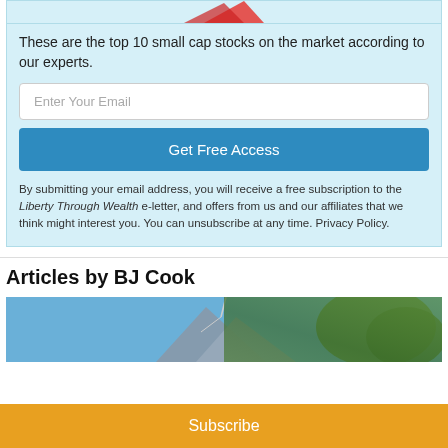[Figure (illustration): Partial view of a promotional graphic at the top of a light blue box]
These are the top 10 small cap stocks on the market according to our experts.
Enter Your Email
Get Free Access
By submitting your email address, you will receive a free subscription to the Liberty Through Wealth e-letter, and offers from us and our affiliates that we think might interest you. You can unsubscribe at any time. Privacy Policy.
Articles by BJ Cook
[Figure (photo): Partial photo of a building with blue sky and trees in background]
Subscribe